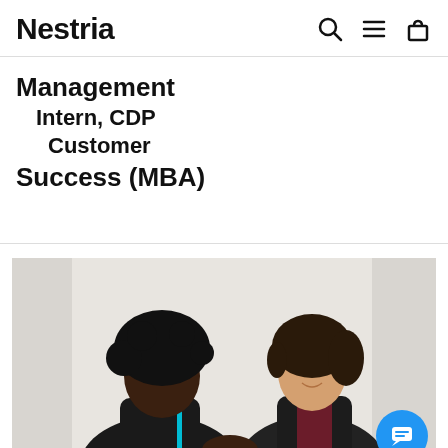Nestria
Management Intern, CDP Customer Success (MBA)
[Figure (photo): Two professional women in business attire shaking hands, one with curly dark hair in a black jacket and the other smiling in a dark blazer, against a white background. A blue chat bubble icon is visible in the bottom right corner.]